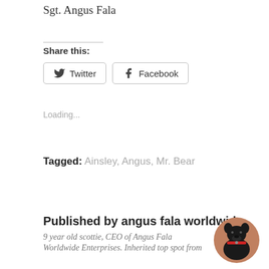Sgt. Angus Fala
Share this:
Twitter
Facebook
Loading...
Tagged: Ainsley, Angus, Mr. Bear
Published by angus fala worldwide
9 year old scottie, CEO of Angus Fala
Worldwide Enterprises. Inherited top spot from
[Figure (photo): Circular avatar photo of a black Scottish Terrier dog]